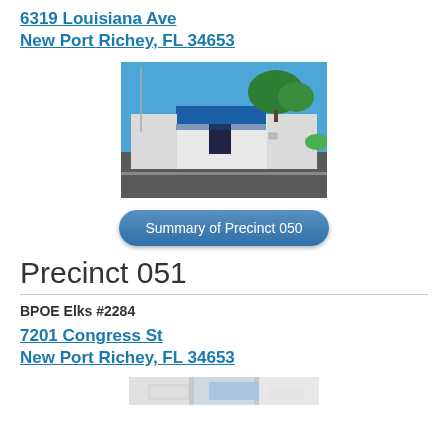6319 Louisiana Ave
New Port Richey, FL 34653
[Figure (photo): Exterior photo of a low white building with a blue canopy/awning entrance, trees in background, parking lot in foreground, blue sky]
Summary of Precinct 050
Precinct 051
BPOE Elks #2284
7201 Congress St
New Port Richey, FL 34653
[Figure (photo): Partial exterior photo of next precinct building (partially visible at bottom of page)]